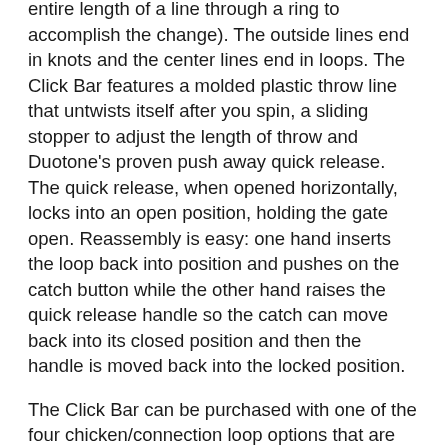entire length of a line through a ring to accomplish the change). The outside lines end in knots and the center lines end in loops. The Click Bar features a molded plastic throw line that untwists itself after you spin, a sliding stopper to adjust the length of throw and Duotone's proven push away quick release. The quick release, when opened horizontally, locks into an open position, holding the gate open. Reassembly is easy: one hand inserts the loop back into position and pushes on the catch button while the other hand raises the quick release handle so the catch can move back into its closed position and then the handle is moved back into the locked position.
The Click Bar can be purchased with one of the four chicken/connection loop options that are tailored to your specific style of riding. Most freeride-oriented kiters might choose the Freeride connection loop which is the smallest option, keeping the bar close to your body. The historically normal-sized loop is now called the 'Freestyle Kit,' which is sized in the middle for both hooked and unhooked riding. For riders that unhook all day long, there is a large 'Wakestyle' loop and for those that only ride with a surf slider rope, there is the 'Rope Harness Kit,' which is a small loop with an integrated metal slider to reduce friction and keep